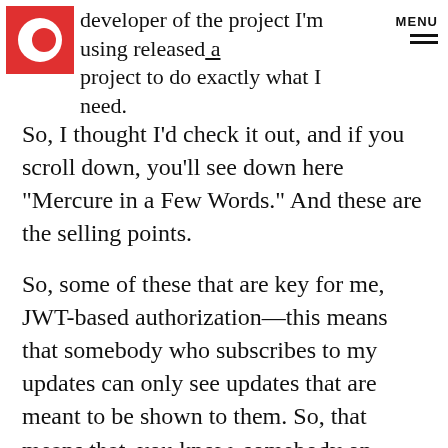developer of the project I'm using released a project to do exactly what I need.
So, I thought I'd check it out, and if you scroll down, you'll see down here “Mercure in a Few Words.” And these are the selling points.
So, some of these that are key for me, JWT-based authorization—this means that somebody who subscribes to my updates can only see updates that are meant to be shown to them. So, that means that, you know, somebody on another team can’t see what your team members are up